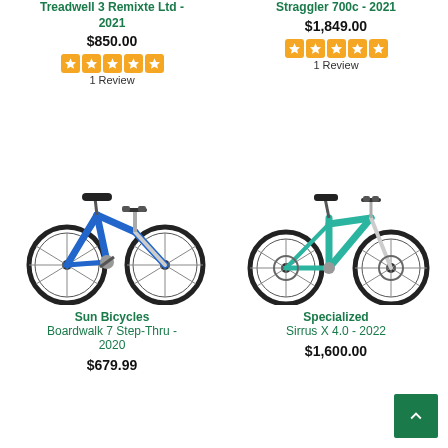Treadwell 3 Remixte Ltd - 2021
$850.00
1 Review
Straggler 700c - 2021
$1,849.00
1 Review
[Figure (photo): Blue step-through city bicycle - Sun Bicycles Boardwalk 7 Step-Thru]
Sun Bicycles
Boardwalk 7 Step-Thru - 2020
$679.99
[Figure (photo): Teal/green hybrid bicycle - Specialized Sirrus X 4.0]
Specialized
Sirrus X 4.0 - 2022
$1,600.00